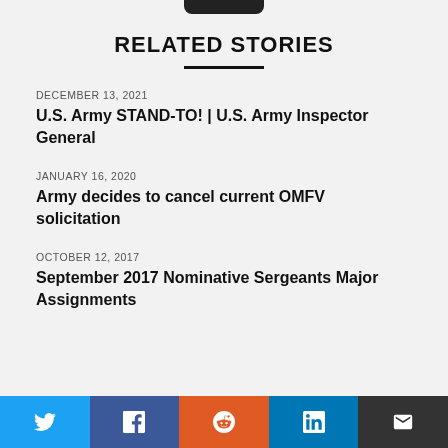RELATED STORIES
DECEMBER 13, 2021
U.S. Army STAND-TO! | U.S. Army Inspector General
JANUARY 16, 2020
Army decides to cancel current OMFV solicitation
OCTOBER 12, 2017
September 2017 Nominative Sergeants Major Assignments